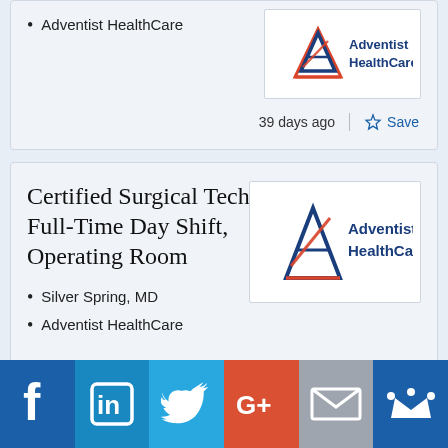Adventist HealthCare
[Figure (logo): Adventist HealthCare logo]
39 days ago
Save
Certified Surgical Technician, Full-Time Day Shift, Operating Room
Silver Spring, MD
Adventist HealthCare
[Figure (logo): Adventist HealthCare logo]
138 days ago
Save
[Figure (infographic): Social media share bar with Facebook, LinkedIn, Twitter, Google+, Email, and Crown/Mightybell icons]